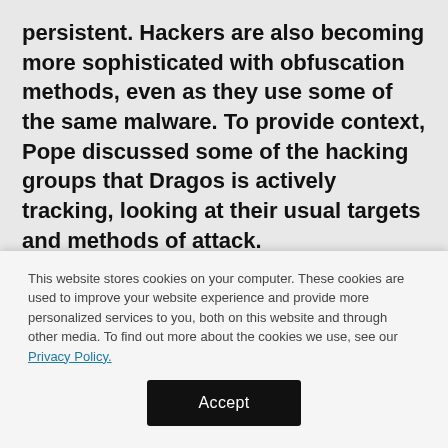persistent. Hackers are also becoming more sophisticated with obfuscation methods, even as they use some of the same malware. To provide context, Pope discussed some of the hacking groups that Dragos is actively tracking, looking at their usual targets and methods of attack.
CHRYSENE, for example, is a very active group
This website stores cookies on your computer. These cookies are used to improve your website experience and provide more personalized services to you, both on this website and through other media. To find out more about the cookies we use, see our Privacy Policy.